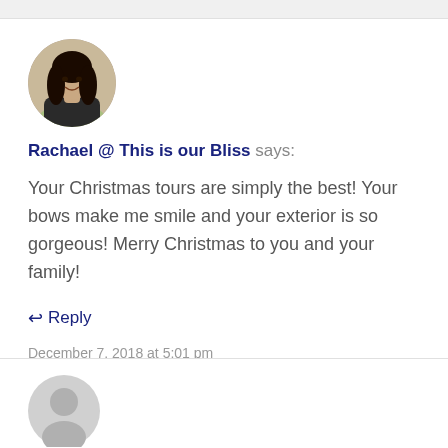[Figure (photo): Circular avatar photo of a woman with dark hair, smiling, against a light outdoor background]
Rachael @ This is our Bliss says:
Your Christmas tours are simply the best! Your bows make me smile and your exterior is so gorgeous! Merry Christmas to you and your family!
↩ Reply
December 7, 2018 at 5:01 pm
[Figure (illustration): Generic gray user avatar silhouette icon (anonymous commenter)]